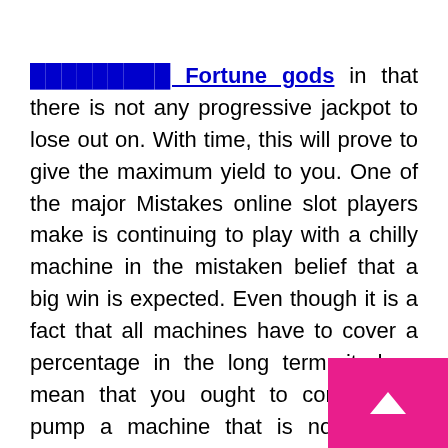◻◻◻◻◻◻◻◻◻ Fortune gods in that there is not any progressive jackpot to lose out on. With time, this will prove to give the maximum yield to you. One of the major Mistakes online slot players make is continuing to play with a chilly machine in the mistaken belief that a big win is expected. Even though it is a fact that all machines have to cover a percentage in the long term, it does mean that you ought to continue to pump a machine that is not paying presuming that there is a win expected.
The results of any spin on a slot machine depends upon the RNG random number generator and this random number generator does not take into